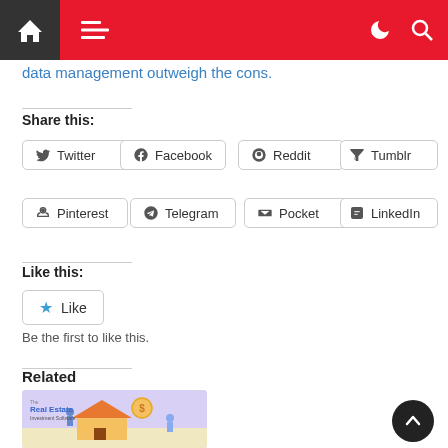Navigation bar with home, menu, dark mode and search icons
data management outweigh the cons.
Share this:
Twitter
Facebook
Reddit
Tumblr
Pinterest
Telegram
Pocket
LinkedIn
Like this:
Like
Be the first to like this.
Related
[Figure (illustration): Real Estate Investment Software promotional illustration with people and a house]